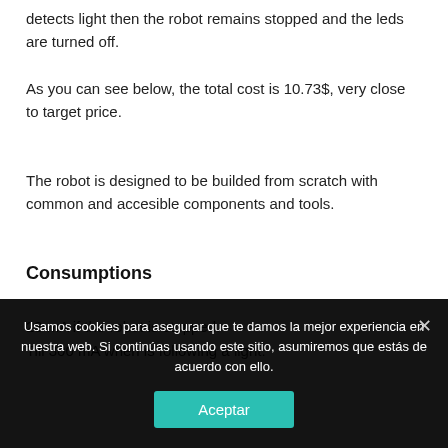detects light then the robot remains stopped and the leds are turned off.
As you can see below, the total cost is 10.73$, very close to target price.
The robot is designed to be builded from scratch with common and accesible components and tools.
Consumptions
23 mA if the robot is stopped.
Till 300 mA when is following a light.
Usamos cookies para asegurar que te damos la mejor experiencia en nuestra web. Si continúas usando este sitio, asumiremos que estás de acuerdo con ello.